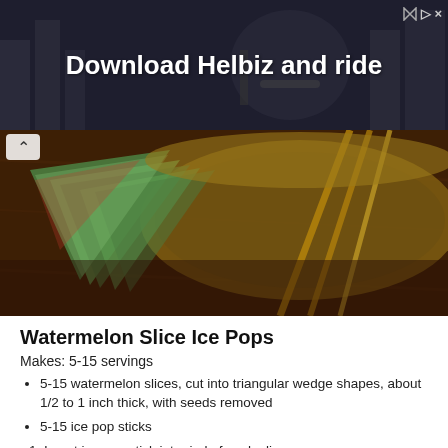[Figure (screenshot): Advertisement banner with dark background showing text 'Download Helbiz and ride' with a person on a scooter]
[Figure (photo): Close-up photo of watermelon slices cut into triangular wedge shapes in a wooden bowl on a wooden surface]
Watermelon Slice Ice Pops
Makes: 5-15 servings
5-15 watermelon slices, cut into triangular wedge shapes, about 1/2 to 1 inch thick, with seeds removed
5-15 ice pop sticks
Insert ice pop stick into rind of each slice.
Optional variation: After inserting sticks, freeze ice pops before serving.